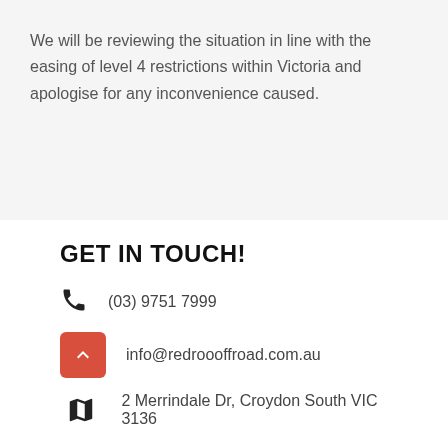We will be reviewing the situation in line with the easing of level 4 restrictions within Victoria and apologise for any inconvenience caused.
GET IN TOUCH!
(03) 9751 7999
info@redroooffroad.com.au
2 Merrindale Dr, Croydon South VIC 3136